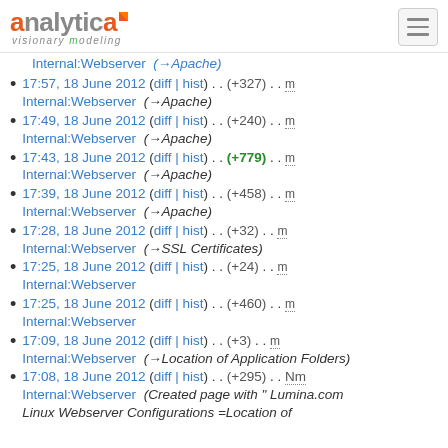Analytica — visionary modeling logo and navigation
17:57, 18 June 2012 (diff | hist) .. (+327) .. m Internal:Webserver (→Apache)
17:49, 18 June 2012 (diff | hist) .. (+240) .. m Internal:Webserver (→Apache)
17:43, 18 June 2012 (diff | hist) .. (+779) .. m Internal:Webserver (→Apache)
17:39, 18 June 2012 (diff | hist) .. (+458) .. m Internal:Webserver (→Apache)
17:28, 18 June 2012 (diff | hist) .. (+32) .. m Internal:Webserver (→SSL Certificates)
17:25, 18 June 2012 (diff | hist) .. (+24) .. m Internal:Webserver
17:25, 18 June 2012 (diff | hist) .. (+460) .. m Internal:Webserver
17:09, 18 June 2012 (diff | hist) .. (+3) .. m Internal:Webserver (→Location of Application Folders)
17:08, 18 June 2012 (diff | hist) .. (+295) .. Nm Internal:Webserver (Created page with " Lumina.com Linux Webserver Configurations =Location of